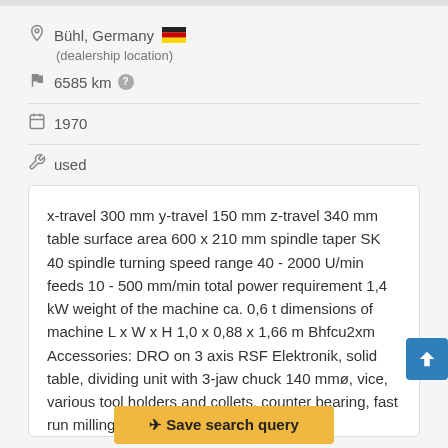Bühl, Germany (dealership location)
6585 km
1970
used
x-travel 300 mm y-travel 150 mm z-travel 340 mm table surface area 600 x 210 mm spindle taper SK 40 spindle turning speed range 40 - 2000 U/min feeds 10 - 500 mm/min total power requirement 1,4 kW weight of the machine ca. 0,6 t dimensions of machine L x W x H 1,0 x 0,88 x 1,66 m Bhfcu2xm Accessories: DRO on 3 axis RSF Elektronik, solid table, dividing unit with 3-jaw chuck 140 mmø, vice, various tool holders and collets, counter bearing, fast run milling head